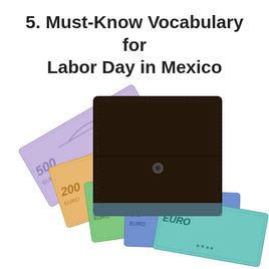5. Must-Know Vocabulary for Labor Day in Mexico
[Figure (photo): A dark brown leather bifold wallet with a snap button, with multiple Euro banknotes (500, 200, 100 denominations) fanned out underneath it in purple, orange/red, green, blue, and teal colors on a white background.]